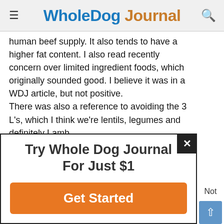Whole Dog Journal
human beef supply. It also tends to have a higher fat content. I also read recently concern over limited ingredient foods, which originally sounded good. I believe it was in a WDJ article, but not positive.
There was also a reference to avoiding the 3 L's, which I think we're lentils, legumes and definitely Lamb.
I fed Science until 2003, and wasn't happy with it, Switched to Wellness Complete Health and keep adding to it with healthy food I eat. Within
[Figure (infographic): Advertisement overlay: 'Try Whole Dog Journal For Just $1' with orange 'Get Started' button and a close (X) button in top right corner.]